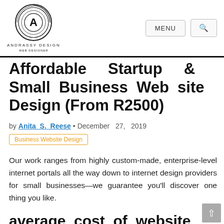Andrassy Design | MENU | Search
Affordable Startup & Small Business Web site Design (From R2500)
by Anita S. Reese • December 27, 2019
Business Website Design
Our work ranges from highly custom-made, enterprise-level internet portals all the way down to internet design providers for small businesses—we guarantee you'll discover one thing you like.
average cost of website